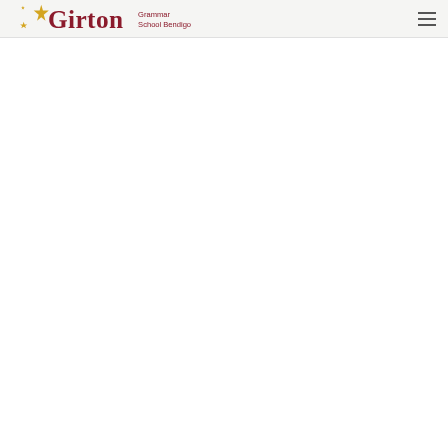Girton Grammar School Bendigo
[Figure (logo): Girton Grammar School Bendigo logo with decorative gold stars and dark red serif wordmark reading 'Girton Grammar School Bendigo']